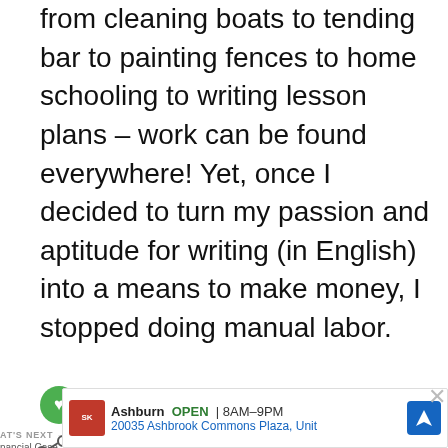from cleaning boats to tending bar to painting fences to home schooling to writing lesson plans – work can be found everywhere! Yet, once I decided to turn my passion and aptitude for writing (in English) into a means to make money, I stopped doing manual labor.
freelance writing career started in 2008 in Eastern Caribbean – between St. Maarten and Grenada to be precise – with the first pieces I submitted to the Caribbean Compass and All At Sea boating magazines. I
[Figure (screenshot): Browser UI overlay: heart/like button (green circle), share button, 'WHAT'S NEXT' sidebar with article thumbnail and title 'Financial Case Study: Sophia...', circular photo thumbnail, and an advertisement banner for Smoothie King in Ashburn showing address 20035 Ashbrook Commons Plaza, Unit, open 8AM-9PM, with navigation icon and close X button.]